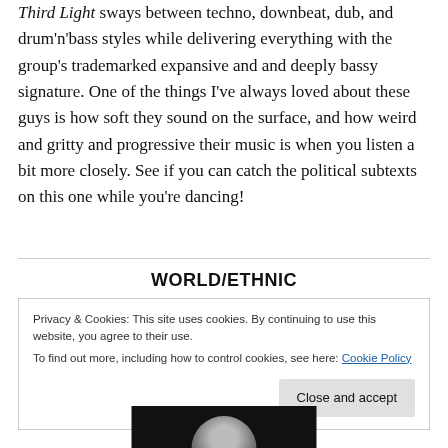Third Light sways between techno, downbeat, dub, and drum'n'bass styles while delivering everything with the group's trademarked expansive and and deeply bassy signature. One of the things I've always loved about these guys is how soft they sound on the surface, and how weird and gritty and progressive their music is when you listen a bit more closely. See if you can catch the political subtexts on this one while you're dancing!
WORLD/ETHNIC
Privacy & Cookies: This site uses cookies. By continuing to use this website, you agree to their use. To find out more, including how to control cookies, see here: Cookie Policy
[Figure (photo): Partial photo at bottom of page, appears to show a person, dark background]